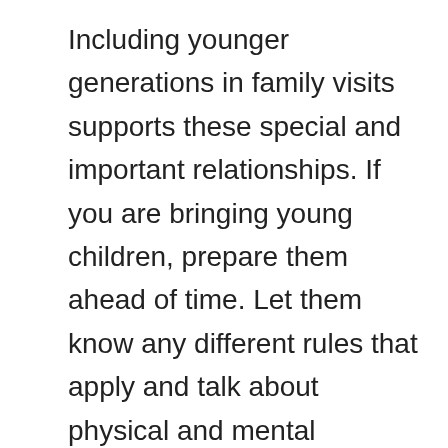Including younger generations in family visits supports these special and important relationships. If you are bringing young children, prepare them ahead of time. Let them know any different rules that apply and talk about physical and mental changes or differences that they might see in their family members. Be honest, but positive about what to expect. Bring along something children can do together with older family members (such as a puzzle, artwork, or story) and also something the children can do independently while the adults talk.